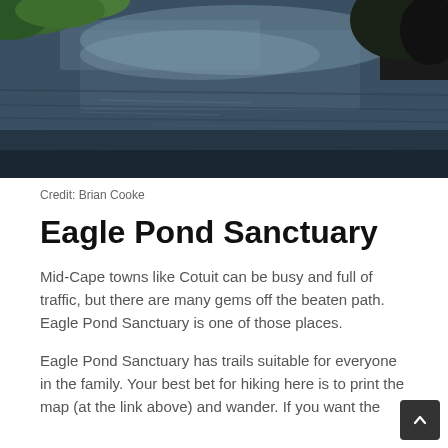[Figure (photo): A pond with dark reflective water, lily pads in the upper left, and a tree branch hanging from the upper right. The scene is calm and natural.]
Credit: Brian Cooke
Eagle Pond Sanctuary
Mid-Cape towns like Cotuit can be busy and full of traffic, but there are many gems off the beaten path. Eagle Pond Sanctuary is one of those places.
Eagle Pond Sanctuary has trails suitable for everyone in the family. Your best bet for hiking here is to print the map (at the link above) and wander. If you want the